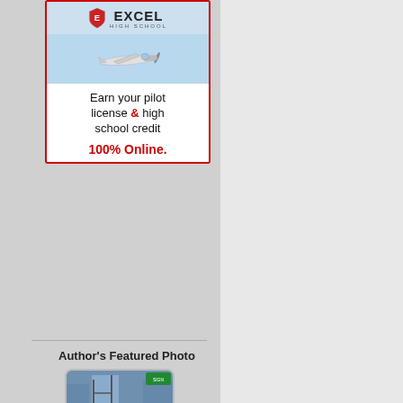[Figure (illustration): Excel High School advertisement: logo with shield and plane graphic. Text reads 'Earn your pilot license & high school credit 100% Online.']
high school. Sadly, it's been c... for the Massachusetts Port Au... windows and the best view in... center of downtown, and you ... Passengers relaxed on carpet... coins into the mechanical bin... unto itself, like a park or a mu... airports.
Back to the Ask the Pilot
Visit the Blog Archive
Back to Top!
Author's Featured Photo
[Figure (photo): Aerial or elevated urban street photo showing construction, scaffolding, and city buildings.]
Print